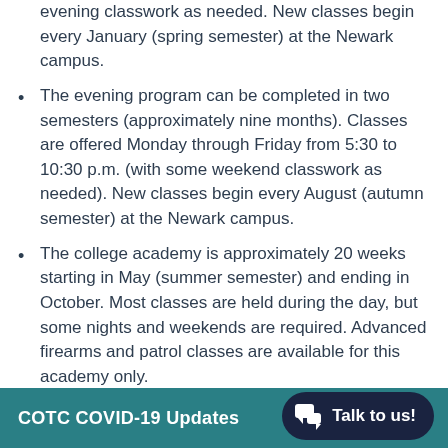evening classwork as needed. New classes begin every January (spring semester) at the Newark campus.
The evening program can be completed in two semesters (approximately nine months). Classes are offered Monday through Friday from 5:30 to 10:30 p.m. (with some weekend classwork as needed). New classes begin every August (autumn semester) at the Newark campus.
The college academy is approximately 20 weeks starting in May (summer semester) and ending in October. Most classes are held during the day, but some nights and weekends are required. Advanced firearms and patrol classes are available for this academy only.
Students with demonstrated financial need, as well as students who are currently in or exiting foster
COTC COVID-19 Updates